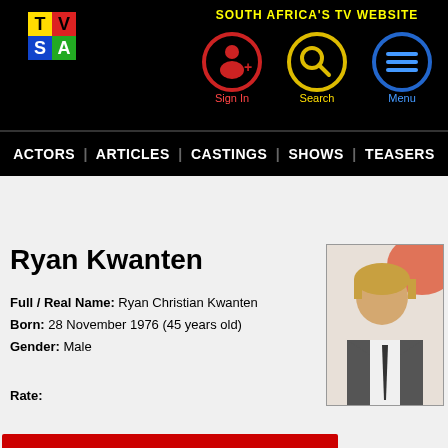[Figure (logo): TVSA logo with colorful T, V, S, A letters on black background]
SOUTH AFRICA'S TV WEBSITE
[Figure (infographic): Navigation icons: Sign In (red circle with person), Search (yellow circle with magnifier), Menu (blue circle with lines)]
ACTORS | ARTICLES | CASTINGS | SHOWS | TEASERS
Ryan Kwanten
Full / Real Name: Ryan Christian Kwanten
Born: 28 November 1976 (45 years old)
Gender: Male
Rate:
[Figure (photo): Photo of Ryan Kwanten in a suit with tie]